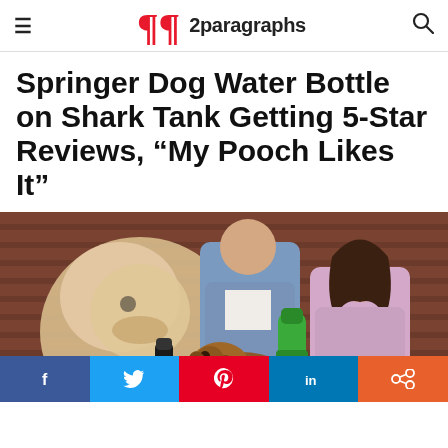≡  2paragraphs  🔍
Springer Dog Water Bottle on Shark Tank Getting 5-Star Reviews, “My Pooch Likes It”
[Figure (photo): Two people (a man in a blue shirt and a woman in a pink top) on what appears to be the Shark Tank set, with a fluffy dog in the foreground. The woman is holding a green Springer dog water bottle and offering water to a small brown dog.]
Facebook  Twitter  Pinterest  LinkedIn  More